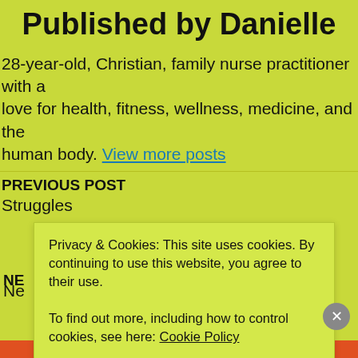Published by Danielle
28-year-old, Christian, family nurse practitioner with a love for health, fitness, wellness, medicine, and the human body. View more posts
PREVIOUS POST
Struggles
NE
Ne
Privacy & Cookies: This site uses cookies. By continuing to use this website, you agree to their use.
To find out more, including how to control cookies, see here: Cookie Policy
Close and accept